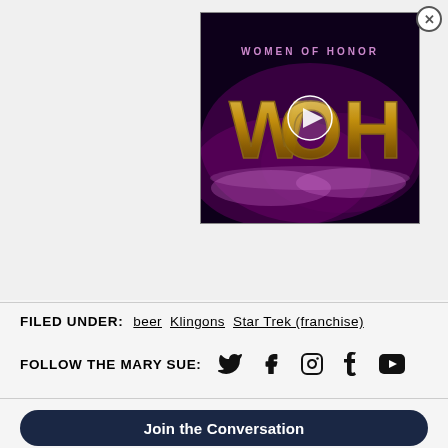[Figure (screenshot): Women of Honor (WOH) video thumbnail with play button, dark purple/black background with stylized WOH logo in gold letters]
FILED UNDER:  beer  Klingons  Star Trek (franchise)
FOLLOW THE MARY SUE: [Twitter] [Facebook] [Instagram] [Tumblr] [YouTube]
Join the Conversation